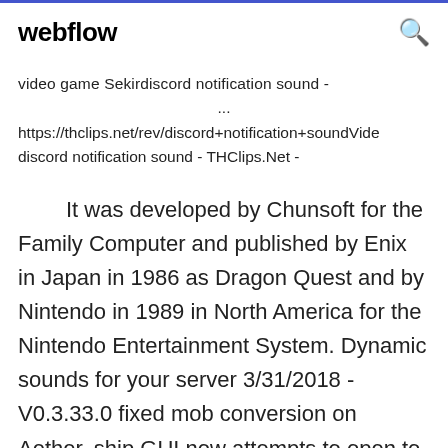webflow
video game Sekirdiscord notification sound -
...
https://thclips.net/rev/discord+notification+soundVide
discord notification sound - THClips.Net -
It was developed by Chunsoft for the Family Computer and published by Enix in Japan in 1986 as Dragon Quest and by Nintendo in 1989 in North America for the Nintendo Entertainment System. Dynamic sounds for your server 3/31/2018 - V0.3.33.0 fixed mob conversion on Aether. ship GUI now attempts to open to the current galaxy of the player. fix boss spawner not giving enough characters for